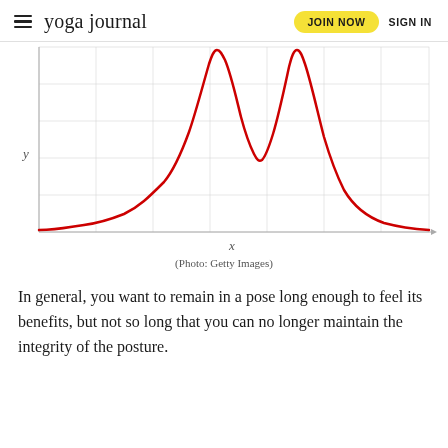yoga journal | JOIN NOW | SIGN IN
[Figure (continuous-plot): A red bell-curve-like plot with two peaks, plotted on a grid with x and y axes labeled. The curve rises steeply from near zero on both sides to two symmetric peaks roughly centered on the x-axis, resembling a bimodal distribution or a camel-back function.]
(Photo: Getty Images)
In general, you want to remain in a pose long enough to feel its benefits, but not so long that you can no longer maintain the integrity of the posture.